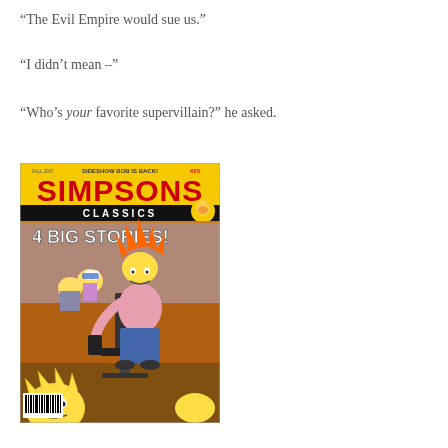“The Evil Empire would sue us.”
“I didn’t mean –”
“Who’s your favorite supervillain?” he asked.
[Figure (illustration): Cover of Simpsons Classics comic book, Fall 2007, issue #25. Yellow background with red lettering reading 'SIMPSONS CLASSICS'. Top text reads 'SIDESHOW BOB IS BACK!' and '#25'. Black banner reads 'CLASSICS'. White text on image reads '4 BIG STORIES!'. Illustration shows Sideshow Bob (orange hair, pink shirt, blue pants) seated in a chair on a bus, with Bart Simpson and other characters visible. Barcode visible in lower left.]